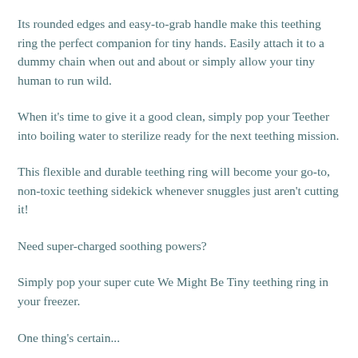Its rounded edges and easy-to-grab handle make this teething ring the perfect companion for tiny hands. Easily attach it to a dummy chain when out and about or simply allow your tiny human to run wild.
When it's time to give it a good clean, simply pop your Teether into boiling water to sterilize ready for the next teething mission.
This flexible and durable teething ring will become your go-to, non-toxic teething sidekick whenever snuggles just aren't cutting it!
Need super-charged soothing powers?
Simply pop your super cute We Might Be Tiny teething ring in your freezer.
One thing's certain...
This Blue Duck Bunny Teether will become your trusted teething